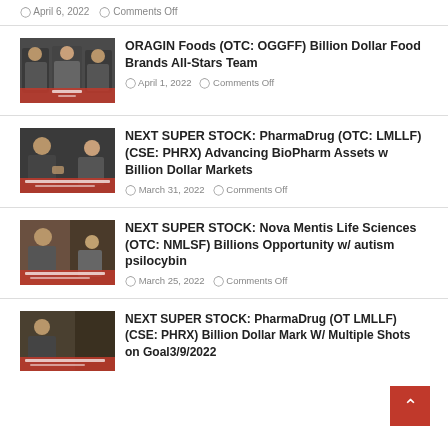April 6, 2022   Comments Off
ORAGIN Foods (OTC: OGGFF) Billion Dollar Food Brands All-Stars Team
April 1, 2022   Comments Off
NEXT SUPER STOCK: PharmaDrug (OTC: LMLLF) (CSE: PHRX) Advancing BioPharm Assets w Billion Dollar Markets
March 31, 2022   Comments Off
NEXT SUPER STOCK: Nova Mentis Life Sciences (OTC: NMLSF) Billions Opportunity w/ autism psilocybin
March 25, 2022   Comments Off
NEXT SUPER STOCK: PharmaDrug (OTC: LMLLF) (CSE: PHRX) Billion Dollar Markets W/ Multiple Shots on Goal3/9/2022